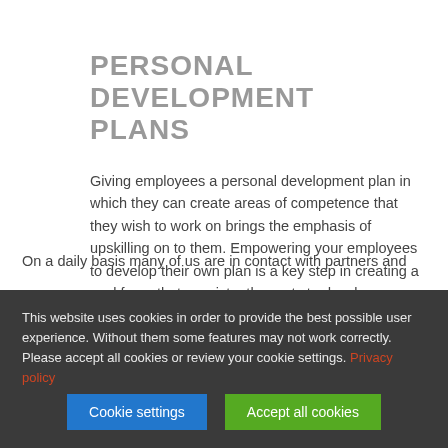PERSONAL DEVELOPMENT PLANS
Giving employees a personal development plan in which they can create areas of competence that they wish to work on brings the emphasis of upskilling on to them. Empowering your employees to develop their own plan is a key step in creating a workforce that consistently wants to develop.
OUTSIDE EXPERTS
On a daily basis many of us are in contact with partners and
This website uses cookies in order to provide the best possible user experience. Without them some features may not work correctly. Please accept all cookies or review your cookie settings. Privacy policy
Cookie settings
Accept all cookies